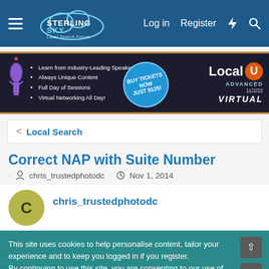Sterling Sky Local Search Forum — Log in Register
[Figure (photo): Local U Advanced Virtual event banner advertisement — Buy Tickets Now Just $125, Nov 2/22]
< Local Search
Correct NAP with Suite Number
· chris_trustedphotodc · Nov 1, 2014
chris_trustedphotodc
This site uses cookies to help personalise content, tailor your experience and to keep you logged in if you register.
By continuing to use this site, you are consenting to our use of cookies.
✓ Accept   Learn more...